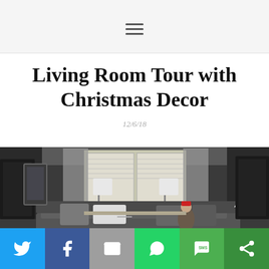≡ (hamburger menu icon)
Living Room Tour with Christmas Decor
12/6/18
[Figure (photo): Interior living room decorated for Christmas: dark gray sofa with pillows, two white table lamps, a window with gray curtains, Christmas trees, Santa figurines, and dark decor pieces on both sides.]
Social share buttons: Twitter, Facebook, Email, WhatsApp, SMS, More